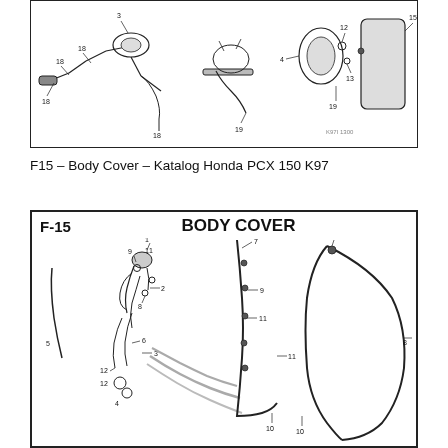[Figure (engineering-diagram): Technical exploded-view parts diagram of motorcycle mirror/handlebar components with numbered callouts (1-19). Shows wiring and small parts assembly for Honda PCX 150 K97.]
F15 – Body Cover – Katalog Honda PCX 150 K97
[Figure (engineering-diagram): Technical exploded-view parts diagram labeled F-15 BODY COVER showing motorcycle body cover components with numbered callouts (1-12). Shows wiring harness, body panels and fasteners for Honda PCX 150 K97.]